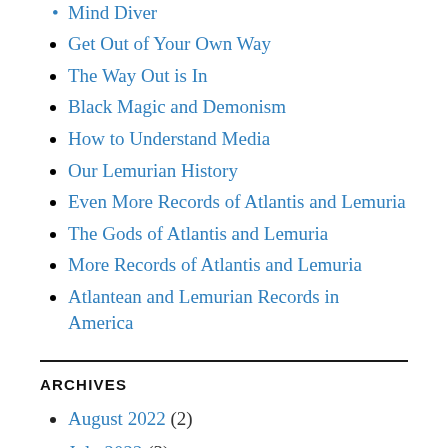Mind Diver
Get Out of Your Own Way
The Way Out is In
Black Magic and Demonism
How to Understand Media
Our Lemurian History
Even More Records of Atlantis and Lemuria
The Gods of Atlantis and Lemuria
More Records of Atlantis and Lemuria
Atlantean and Lemurian Records in America
ARCHIVES
August 2022 (2)
July 2022 (3)